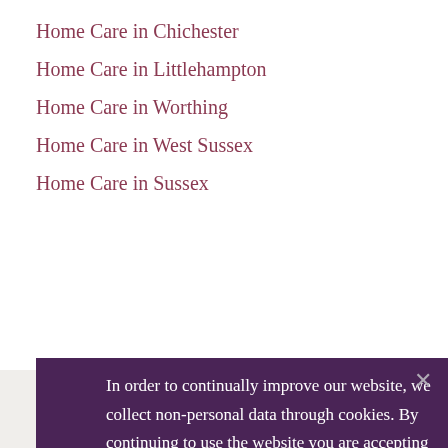Home Care in Chichester
Home Care in Littlehampton
Home Care in Worthing
Home Care in West Sussex
Home Care in Sussex
Funding for care
In order to continually improve our website, we collect non-personal data through cookies. By continuing to use the website you are accepting the use of these cookies. Please read our privacy policy for more information.